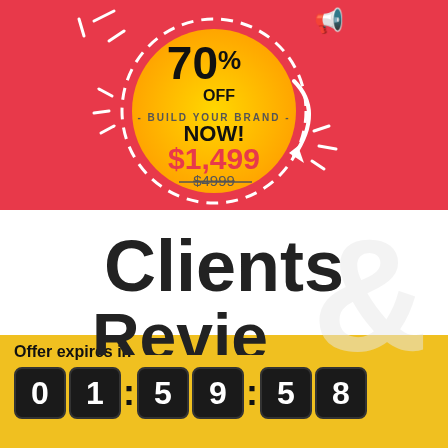[Figure (infographic): Red background promotional banner with a yellow circular badge showing 70% OFF, BUILD YOUR BRAND NOW!, price $1,499 with crossed-out $4999, and decorative arrow and sparkle elements]
Clients Reviews
Offer expires in
01:59:58